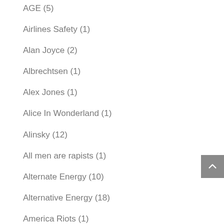AGE (5)
Airlines Safety (1)
Alan Joyce (2)
Albrechtsen (1)
Alex Jones (1)
Alice In Wonderland (1)
Alinsky (12)
All men are rapists (1)
Alternate Energy (10)
Alternative Energy (18)
America Riots (1)
American Election (13)